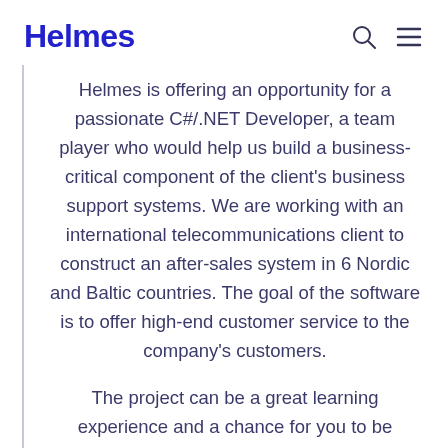Helmes
Helmes is offering an opportunity for a passionate C#/.NET Developer, a team player who would help us build a business-critical component of the client's business support systems. We are working with an international telecommunications client to construct an after-sales system in 6 Nordic and Baltic countries. The goal of the software is to offer high-end customer service to the company's customers.
The project can be a great learning experience and a chance for you to be